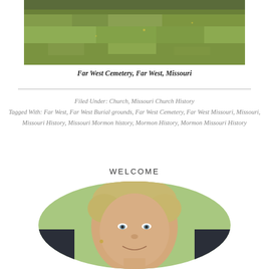[Figure (photo): Aerial/landscape photo of grassy cemetery grounds, Far West Cemetery, Far West, Missouri]
Far West Cemetery, Far West, Missouri
Filed Under: Church, Missouri Church History
Tagged With: Far West, Far West Burial grounds, Far West Cemetery, Far West Missouri, Missouri, Missouri History, Missouri Mormon history, Mormon History, Mormon Missouri History
WELCOME
[Figure (photo): Portrait photo of a woman with short blonde hair, smiling, in a circular crop]